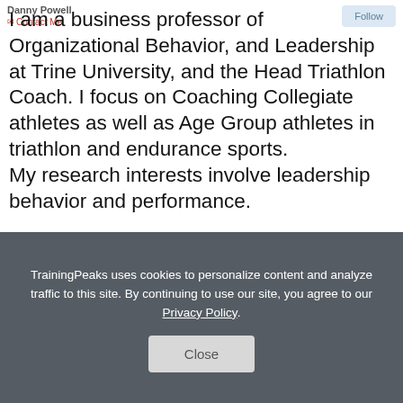Danny Powell | Contact Me | Follow
I am a business professor of Organizational Behavior, and Leadership at Trine University, and the Head Triathlon Coach. I focus on Coaching Collegiate athletes as well as Age Group athletes in triathlon and endurance sports.
My research interests involve leadership behavior and performance.
Read More
TrainingPeaks uses cookies to personalize content and analyze traffic to this site. By continuing to use our site, you agree to our Privacy Policy.
Close